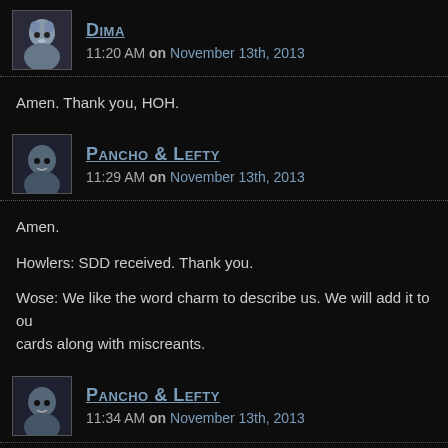Dima — 11:20 AM on November 13th, 2013
Amen. Thank you, HOH.
Pancho & Lefty — 11:29 AM on November 13th, 2013
Amen.

Howlers: SDD received. Thank you.

Wose: We like the word charm to describe us. We will add it to our cards along with miscreants.
Pancho & Lefty — 11:34 AM on November 13th, 2013